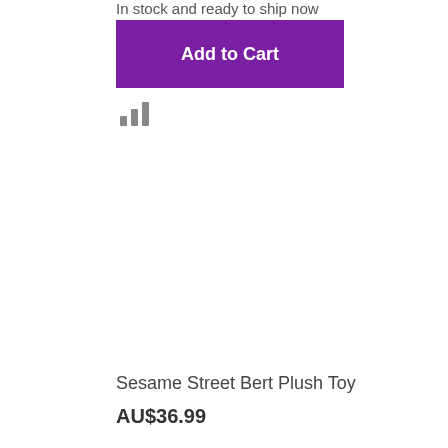In stock and ready to ship now
Add to Cart
[Figure (other): Small bar chart icon with three bars in gray]
Sesame Street Bert Plush Toy
AU$36.99